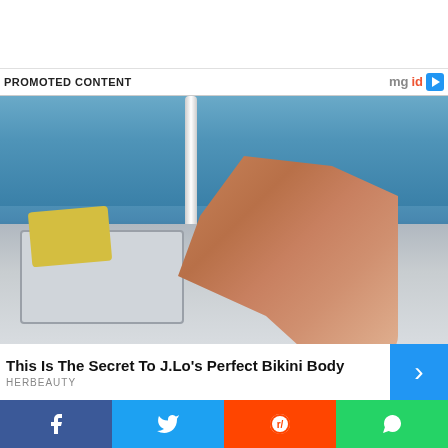PROMOTED CONTENT
[Figure (photo): Woman in yellow bikini lying on a yacht deck looking out at the ocean]
This Is The Secret To J.Lo's Perfect Bikini Body
HERBEAUTY
[Figure (infographic): Social share bar with Facebook, Twitter, Reddit and WhatsApp buttons]